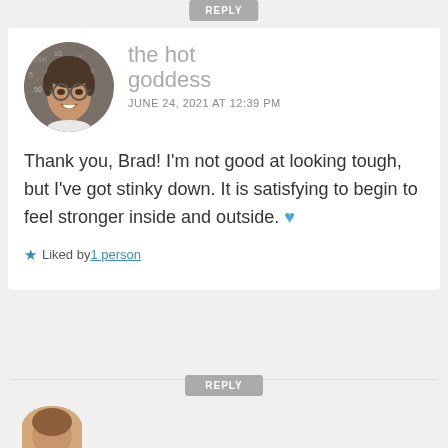REPLY
[Figure (photo): Circular avatar photo of a woman with short hair and glasses, smiling, against a word-collage background]
the hot goddess
JUNE 24, 2021 AT 12:39 PM
Thank you, Brad! I'm not good at looking tough, but I've got stinky down. It is satisfying to begin to feel stronger inside and outside. 💙
★ Liked by 1 person
REPLY
[Figure (photo): Partial circular avatar photo visible at the bottom of the page]